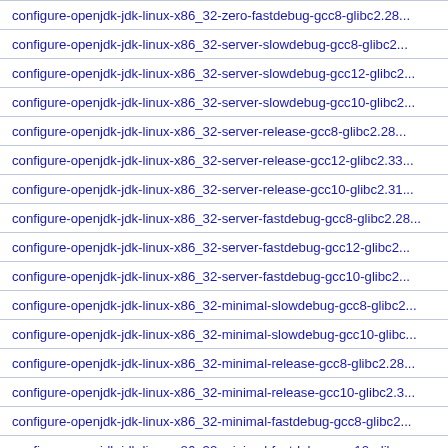configure-openjdk-jdk-linux-x86_32-zero-fastdebug-gcc8-glibc2.28...
configure-openjdk-jdk-linux-x86_32-server-slowdebug-gcc8-glibc2...
configure-openjdk-jdk-linux-x86_32-server-slowdebug-gcc12-glibc2...
configure-openjdk-jdk-linux-x86_32-server-slowdebug-gcc10-glibc2...
configure-openjdk-jdk-linux-x86_32-server-release-gcc8-glibc2.28...
configure-openjdk-jdk-linux-x86_32-server-release-gcc12-glibc2.33...
configure-openjdk-jdk-linux-x86_32-server-release-gcc10-glibc2.31...
configure-openjdk-jdk-linux-x86_32-server-fastdebug-gcc8-glibc2.28...
configure-openjdk-jdk-linux-x86_32-server-fastdebug-gcc12-glibc2...
configure-openjdk-jdk-linux-x86_32-server-fastdebug-gcc10-glibc2...
configure-openjdk-jdk-linux-x86_32-minimal-slowdebug-gcc8-glibc2...
configure-openjdk-jdk-linux-x86_32-minimal-slowdebug-gcc10-glibc...
configure-openjdk-jdk-linux-x86_32-minimal-release-gcc8-glibc2.28...
configure-openjdk-jdk-linux-x86_32-minimal-release-gcc10-glibc2.3...
configure-openjdk-jdk-linux-x86_32-minimal-fastdebug-gcc8-glibc2...
configure-openjdk-jdk-linux-x86_32-minimal-fastdebug-gcc10-glibc...
configure-openjdk-jdk-linux-aarch64-zero-slowdebug-gcc6-glibc2.2...